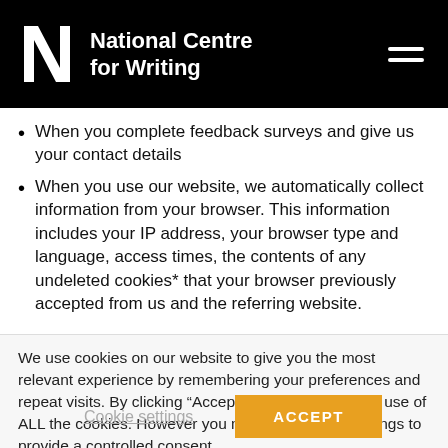National Centre for Writing
When you complete feedback surveys and give us your contact details
When you use our website, we automatically collect information from your browser. This information includes your IP address, your browser type and language, access times, the contents of any undeleted cookies* that your browser previously accepted from us and the referring website.
We use cookies on our website to give you the most relevant experience by remembering your preferences and repeat visits. By clicking “Accept”, you consent to the use of ALL the cookies. However you may visit Cookie Settings to provide a controlled consent.
Cookie settings
ACCEPT